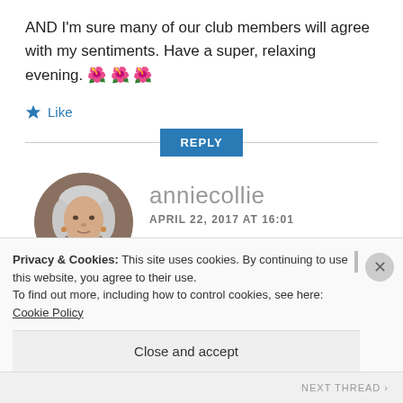AND I'm sure many of our club members will agree with my sentiments. Have a super, relaxing evening. 🌸🌸🌸
★ Like
REPLY
anniecollie
APRIL 22, 2017 AT 16:01
[Figure (photo): Circular avatar photo of anniecollie, an older woman with white/grey hair]
Privacy & Cookies: This site uses cookies. By continuing to use this website, you agree to their use.
To find out more, including how to control cookies, see here: Cookie Policy
Close and accept